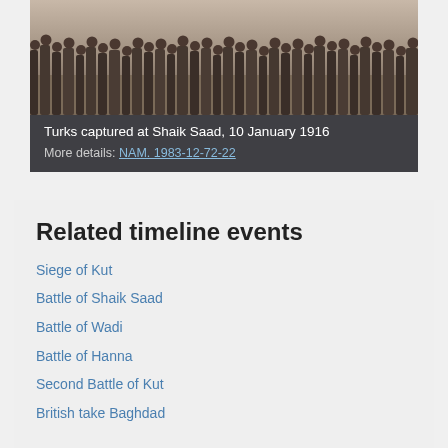[Figure (photo): Black and white historical photograph showing Turkish prisoners captured at Shaik Saad, 10 January 1916. Crowd of soldiers and figures visible.]
Turks captured at Shaik Saad, 10 January 1916
More details: NAM. 1983-12-72-22
Related timeline events
Siege of Kut
Battle of Shaik Saad
Battle of Wadi
Battle of Hanna
Second Battle of Kut
British take Baghdad